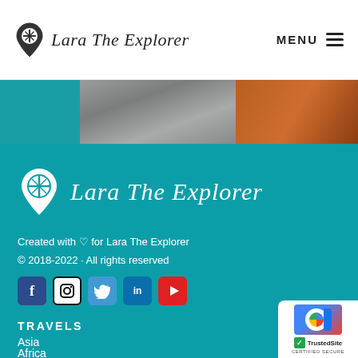Lara The Explorer | MENU
[Figure (photo): Two photo strips visible at top: a grey stone/pavement photo on the left and a warm-toned photo on the right, on a teal background.]
[Figure (logo): Lara The Explorer logo in white on teal background: map pin icon with compass rose, followed by cursive text 'Lara The Explorer']
Created with ♡ for Lara The Explorer
© 2018-2022 · All rights reserved
[Figure (infographic): Social media icons row: Facebook (dark blue), Instagram (black/white), Twitter (blue), LinkedIn (blue), YouTube (red)]
TRAVELS
Asia
Africa
[Figure (other): TrustedSite certified secure badge in bottom right corner with reCAPTCHA logo]